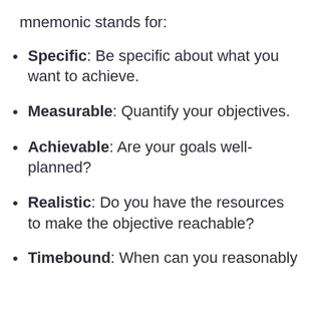mnemonic stands for:
Specific: Be specific about what you want to achieve.
Measurable: Quantify your objectives.
Achievable: Are your goals well-planned?
Realistic: Do you have the resources to make the objective reachable?
Timebound: When can you reasonably